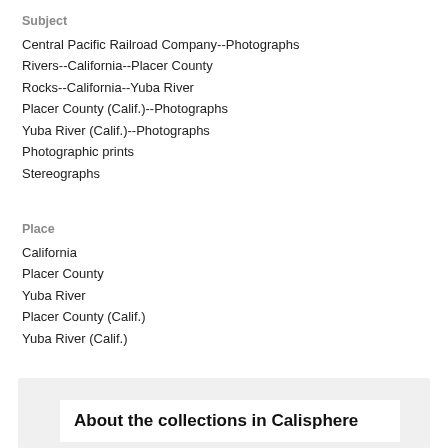Subject
Central Pacific Railroad Company--Photographs
Rivers--California--Placer County
Rocks--California--Yuba River
Placer County (Calif.)--Photographs
Yuba River (Calif.)--Photographs
Photographic prints
Stereographs
Place
California
Placer County
Yuba River
Placer County (Calif.)
Yuba River (Calif.)
About the collections in Calisphere